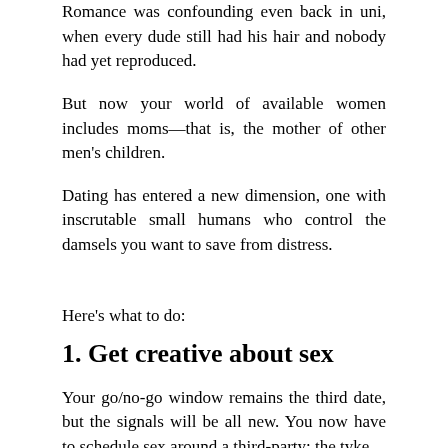Romance was confounding even back in uni, when every dude still had his hair and nobody had yet reproduced.
But now your world of available women includes moms—that is, the mother of other men's children.
Dating has entered a new dimension, one with inscrutable small humans who control the damsels you want to save from distress.
Here's what to do:
1. Get creative about sex
Your go/no-go window remains the third date, but the signals will be all new. You now have to schedule sex around a third-party: the tyke.
So, when she says her ex has him for the night, consider it excellent news. Note: This doesn't mean sex will happen